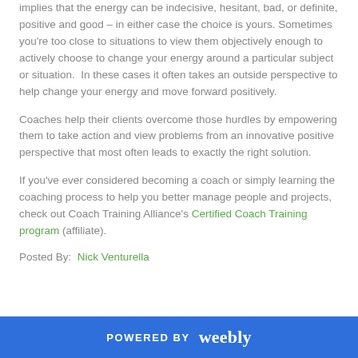implies that the energy can be indecisive, hesitant, bad, or definite, positive and good – in either case the choice is yours. Sometimes you're too close to situations to view them objectively enough to actively choose to change your energy around a particular subject or situation.  In these cases it often takes an outside perspective to help change your energy and move forward positively.
Coaches help their clients overcome those hurdles by empowering them to take action and view problems from an innovative positive perspective that most often leads to exactly the right solution.
If you've ever considered becoming a coach or simply learning the coaching process to help you better manage people and projects, check out Coach Training Alliance's Certified Coach Training program (affiliate).
Posted By:  Nick Venturella
POWERED BY weebly